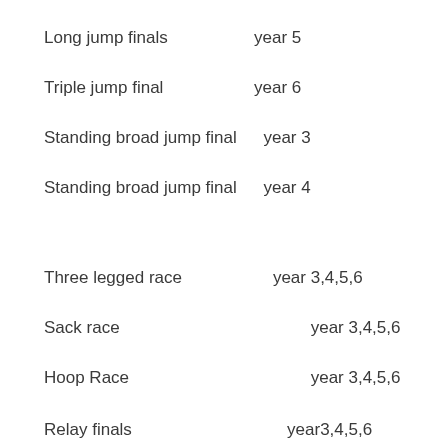Long jump finals    year 5
Triple jump final    year 6
Standing broad jump final   year 3
Standing broad jump final   year 4
Three legged race    year 3,4,5,6
Sack race    year 3,4,5,6
Hoop Race    year 3,4,5,6
Relay finals    year3,4,5,6